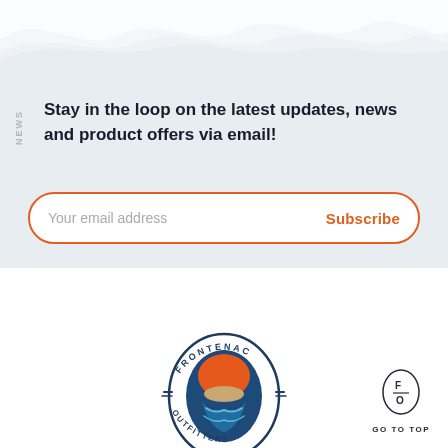NEWS
Stay in the loop on the latest updates, news and product offers via email!
Your email address  Subscribe
[Figure (logo): Frontenac Outfitters circular logo with flip-flop / paddle graphic in orange, dark blue and tan, with text FRONTENAC around the top and OUTFITTERS around the bottom]
[Figure (logo): Small oval badge with F/O letters and GO TO TOP label beneath]